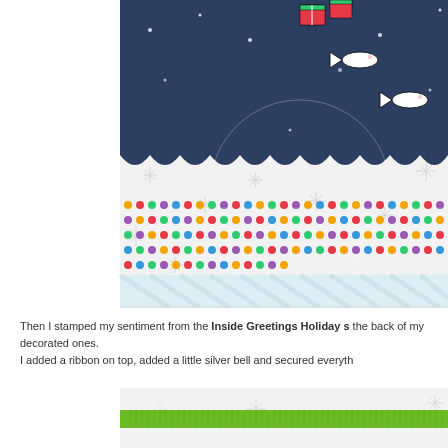[Figure (photo): Close-up of a handmade holiday card showing a navy scalloped panel with stamped fish and gift images on a snowflake-patterned background, with colorful polka dot washi tape strips below, and a light blue striped paper layer]
Then I stamped my sentiment from the Inside Greetings Holiday s the back of my decorated ones.
I added a ribbon on top, added a little silver bell and secured everyth
[Figure (photo): Partial view of a card with snowflake patterned background and a lime green grosgrain ribbon across it]